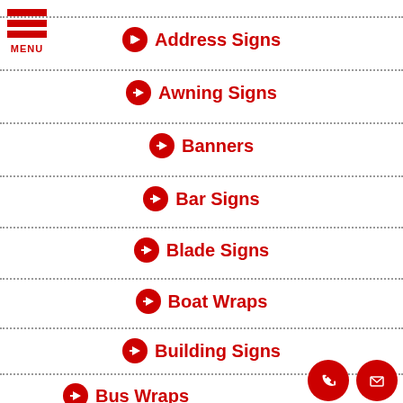[Figure (logo): Hamburger menu icon with three red bars and MENU label]
Address Signs
Awning Signs
Banners
Bar Signs
Blade Signs
Boat Wraps
Building Signs
Bus Wraps
[Figure (illustration): Phone icon in red circle and envelope icon in red circle at bottom right]